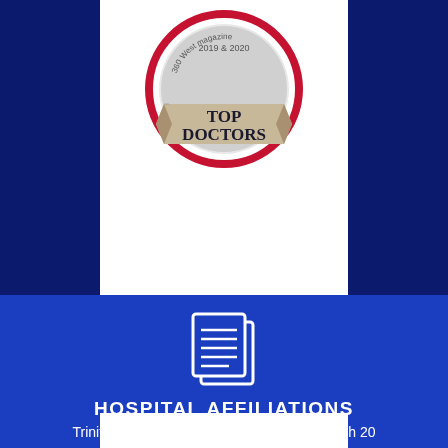[Figure (logo): 360 West Magazine Top Doctors 2019 & 2020 award badge - circular red/grey badge with ribbon banner reading TOP DOCTORS]
[Figure (illustration): White document/clipboard icon on blue background representing hospital affiliations]
HOSPITAL AFFILIATIONS
Trinity Medical Associates is credentialed with 20 plus local hospitals